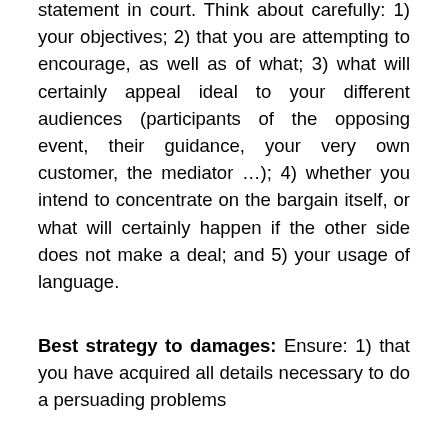statement in court. Think about carefully: 1) your objectives; 2) that you are attempting to encourage, as well as of what; 3) what will certainly appeal ideal to your different audiences (participants of the opposing event, their guidance, your very own customer, the mediator …); 4) whether you intend to concentrate on the bargain itself, or what will certainly happen if the other side does not make a deal; and 5) your usage of language.
Best strategy to damages: Ensure: 1) that you have acquired all details necessary to do a persuading problems